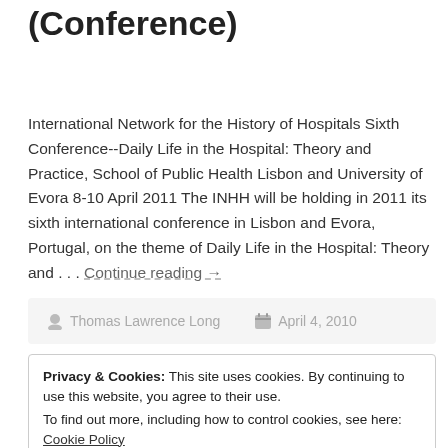(Conference)
International Network for the History of Hospitals Sixth Conference--Daily Life in the Hospital: Theory and Practice, School of Public Health Lisbon and University of Evora 8-10 April 2011 The INHH will be holding in 2011 its sixth international conference in Lisbon and Evora, Portugal, on the theme of Daily Life in the Hospital: Theory and . . . Continue reading →
Thomas Lawrence Long   April 4, 2010
Privacy & Cookies: This site uses cookies. By continuing to use this website, you agree to their use. To find out more, including how to control cookies, see here: Cookie Policy
Close and accept